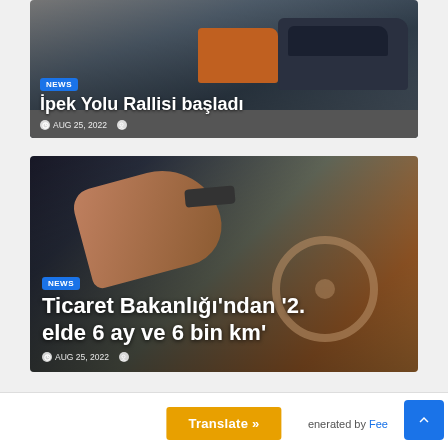[Figure (photo): Photo of cars lined up on a road for a rally race, viewed from the side, dark colored vehicles including a station wagon]
İpek Yolu Rallisi başladı
AUG 25, 2022
[Figure (photo): Photo of a hand holding car keys being handed over inside a car, with a steering wheel visible in the background, warm sunset lighting]
Ticaret Bakanlığı'ndan '2. elde 6 ay ve 6 bin km'
AUG 25, 2022
Translate » enerated by Fee